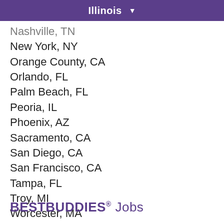Illinois ▼
Nashville, TN
New York, NY
Orange County, CA
Orlando, FL
Palm Beach, FL
Peoria, IL
Phoenix, AZ
Sacramento, CA
San Diego, CA
San Francisco, CA
Tampa, FL
Troy, MI
Worcester, MA
BESTBUDDIES® Jobs